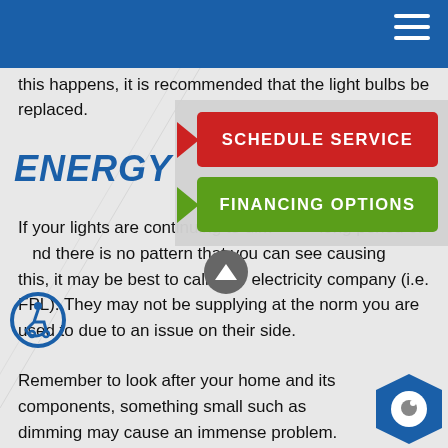this happens, it is recommended that the light bulbs be replaced.
ENERGY P
If your lights are continuing to dim for a long period of and there is no pattern that you can see causing this, it may be best to call your electricity company (i.e. FPL). They may not be supplying at the norm you are used to due to an issue on their side.
Remember to look after your home and its components, something small such as dimming may cause an immense problem. Don't forget t
[Figure (screenshot): Red SCHEDULE SERVICE button with left-pointing arrow]
[Figure (screenshot): Green FINANCING OPTIONS button with left-pointing arrow]